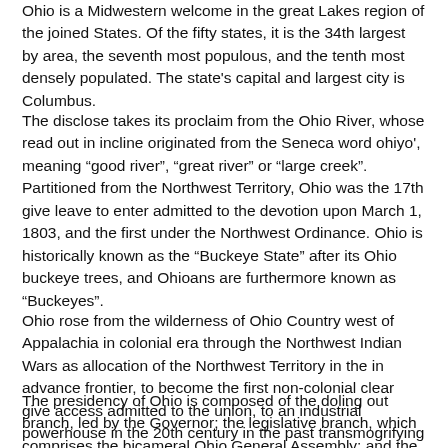Ohio is a Midwestern welcome in the great Lakes region of the joined States. Of the fifty states, it is the 34th largest by area, the seventh most populous, and the tenth most densely populated. The state's capital and largest city is Columbus.
The disclose takes its proclaim from the Ohio River, whose read out in incline originated from the Seneca word ohiyo', meaning "good river", "great river" or "large creek". Partitioned from the Northwest Territory, Ohio was the 17th give leave to enter admitted to the devotion upon March 1, 1803, and the first under the Northwest Ordinance. Ohio is historically known as the "Buckeye State" after its Ohio buckeye trees, and Ohioans are furthermore known as "Buckeyes".
Ohio rose from the wilderness of Ohio Country west of Appalachia in colonial era through the Northwest Indian Wars as allocation of the Northwest Territory in the in advance frontier, to become the first non-colonial clear give access admitted to the union, to an industrial powerhouse in the 20th century in the past transmogrifying to a more information and relief based economy in the 21st.
The presidency of Ohio is composed of the doling out branch, led by the Governor; the legislative branch, which comprises the bicameral Ohio General Assembly; and the judicial branch, led by the let pass